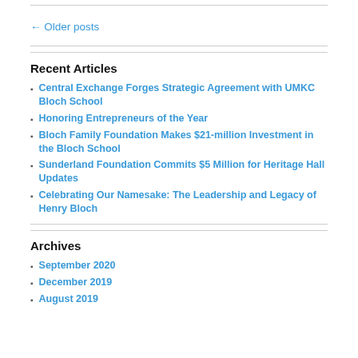← Older posts
Recent Articles
Central Exchange Forges Strategic Agreement with UMKC Bloch School
Honoring Entrepreneurs of the Year
Bloch Family Foundation Makes $21-million Investment in the Bloch School
Sunderland Foundation Commits $5 Million for Heritage Hall Updates
Celebrating Our Namesake: The Leadership and Legacy of Henry Bloch
Archives
September 2020
December 2019
August 2019